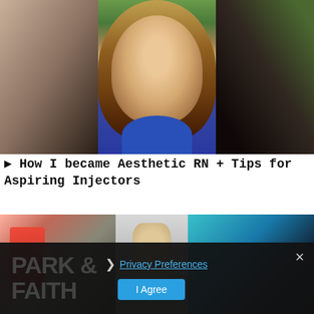[Figure (screenshot): Video thumbnail showing three panels: a blurred blonde woman on left, a woman in blue shirt in center, and dark blurred image on right]
▶ How I became Aesthetic RN + Tips for Aspiring Injectors
[Figure (screenshot): Second row of video thumbnails: red item on left, person holding something in center, person in red hat on right]
PARK & FAITH
❯ Privacy Preferences
I Agree
×